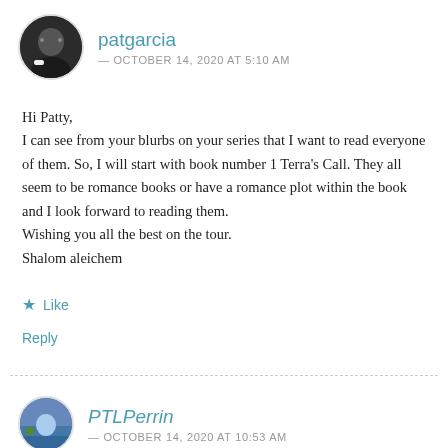[Figure (photo): Circular avatar of a person (patgarcia), dark clothing, against a light background.]
patgarcia
— OCTOBER 14, 2020 AT 5:10 AM
Hi Patty,
I can see from your blurbs on your series that I want to read everyone of them. So, I will start with book number 1 Terra's Call. They all seem to be romance books or have a romance plot within the book and I look forward to reading them.
Wishing you all the best on the tour.
Shalom aleichem
★ Like
Reply
[Figure (photo): Circular avatar of PTLPerrin with a scenic/landscape background.]
PTLPerrin
— OCTOBER 14, 2020 AT 10:53 AM